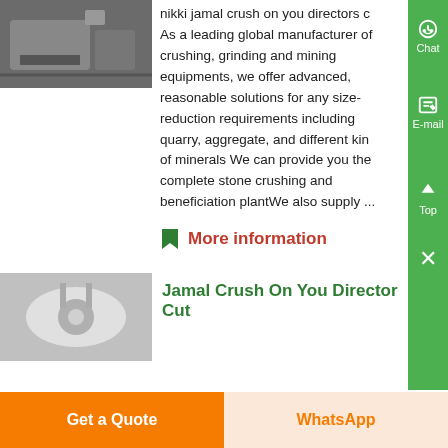[Figure (photo): Industrial crushing/grinding machine in a warehouse setting]
nikki jamal crush on you directors c As a leading global manufacturer of crushing, grinding and mining equipments, we offer advanced, reasonable solutions for any size-reduction requirements including quarry, aggregate, and different kinds of minerals We can provide you the complete stone crushing and beneficiation plantWe also supply ...
More information
[Figure (photo): Close-up of industrial crushing equipment]
Jamal Crush On You Directors Cut
Get a Quote
WhatsApp